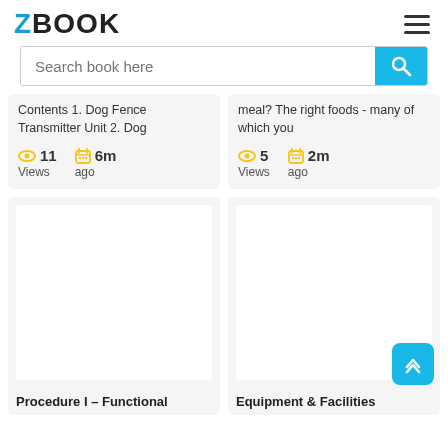ZBOOK
Search book here
Contents 1. Dog Fence Transmitter Unit 2. Dog
11 Views  6m ago
meal? The right foods - many of which you
5 Views  2m ago
Procedure I – Functional
Equipment & Facilities